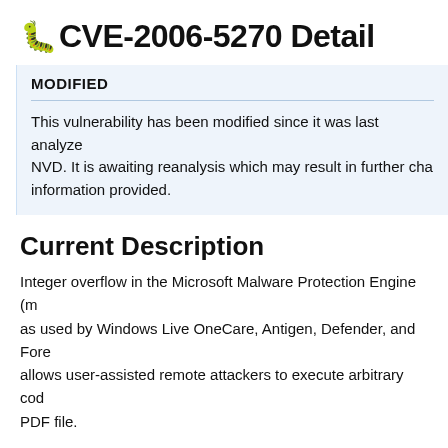CVE-2006-5270 Detail
MODIFIED
This vulnerability has been modified since it was last analyzed by NVD. It is awaiting reanalysis which may result in further changes to the information provided.
Current Description
Integer overflow in the Microsoft Malware Protection Engine (mpengine.dll), as used by Windows Live OneCare, Antigen, Defender, and Forefront, allows user-assisted remote attackers to execute arbitrary code via a crafted PDF file.
+ View Analysis Description